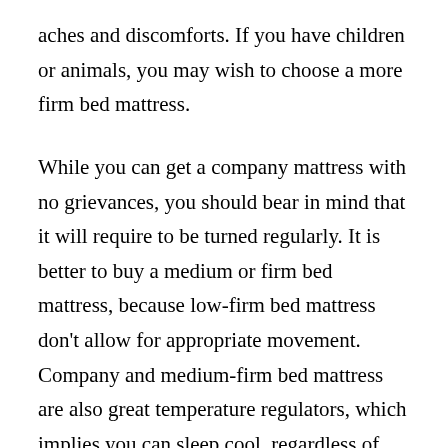aches and discomforts. If you have children or animals, you may wish to choose a more firm bed mattress.
While you can get a company mattress with no grievances, you should bear in mind that it will require to be turned regularly. It is better to buy a medium or firm bed mattress, because low-firm bed mattress don't allow for appropriate movement. Company and medium-firm bed mattress are also great temperature regulators, which implies you can sleep cool, regardless of how hot you are. Soft mattresses, on the other hand, are